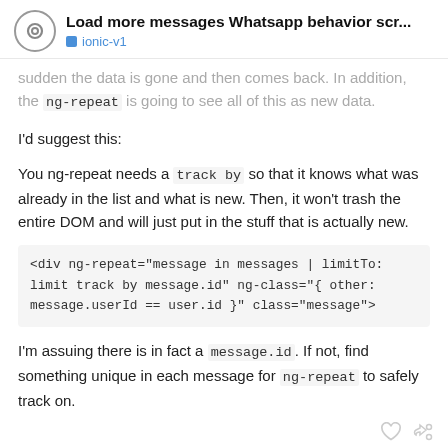Load more messages Whatsapp behavior scr... ionic-v1
sudden the data is gone and then comes back. In addition, the ng-repeat is going to see all of this as new data.
I'd suggest this:
You ng-repeat needs a track by so that it knows what was already in the list and what is new. Then, it won't trash the entire DOM and will just put in the stuff that is actually new.
<div ng-repeat="message in messages | limitTo: limit track by message.id" ng-class="{ other: message.userId == user.id }" class="message">
I'm assuing there is in fact a message.id. If not, find something unique in each message for ng-repeat to safely track on.
2 / 6